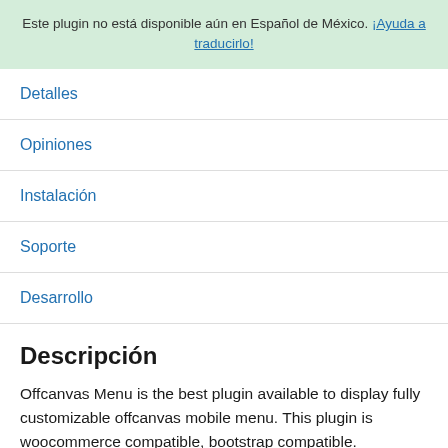Este plugin no está disponible aún en Español de México. ¡Ayuda a traducirlo!
Detalles
Opiniones
Instalación
Soporte
Desarrollo
Descripción
Offcanvas Menu is the best plugin available to display fully customizable offcanvas mobile menu. This plugin is woocommerce compatible, bootstrap compatible.